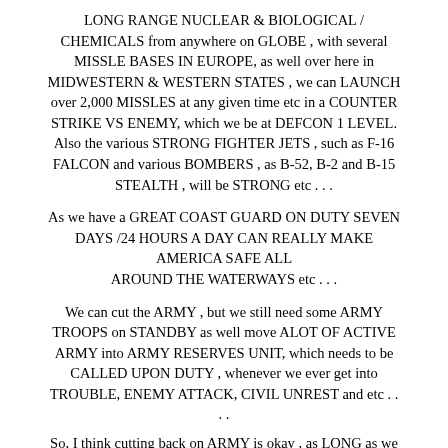LONG RANGE NUCLEAR & BIOLOGICAL / CHEMICALS from anywhere on GLOBE , with several MISSLE BASES IN EUROPE, as well over here in MIDWESTERN & WESTERN STATES , we can LAUNCH over 2,000 MISSLES at any given time etc in a COUNTER STRIKE VS ENEMY, which we be at DEFCON 1 LEVEL. Also the various STRONG FIGHTER JETS , such as F-16 FALCON and various BOMBERS , as B-52, B-2 and B-15 STEALTH , will be STRONG etc . . .
As we have a GREAT COAST GUARD ON DUTY SEVEN DAYS /24 HOURS A DAY CAN REALLY MAKE AMERICA SAFE ALL AROUND THE WATERWAYS etc . . .
We can cut the ARMY , but we still need some ARMY TROOPS on STANDBY as well move ALOT OF ACTIVE ARMY into ARMY RESERVES UNIT, which needs to be CALLED UPON DUTY , whenever we ever get into TROUBLE, ENEMY ATTACK, CIVIL UNREST and etc . . . .
So, I think cutting back on ARMY is okay , as LONG as we HAVE GREAT STRENGTH of our NAVY- MARINES , AIR FORCE